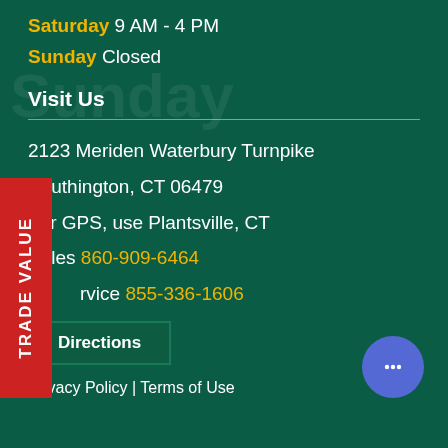Saturday 9 AM - 4 PM
Sunday Closed
Visit Us
2123 Meriden Waterbury Turnpike
Southington, CT 06479
For GPS, use Plantsville, CT
Sales 860-909-6464
Service 855-336-1606
Directions
Privacy Policy | Terms of Use